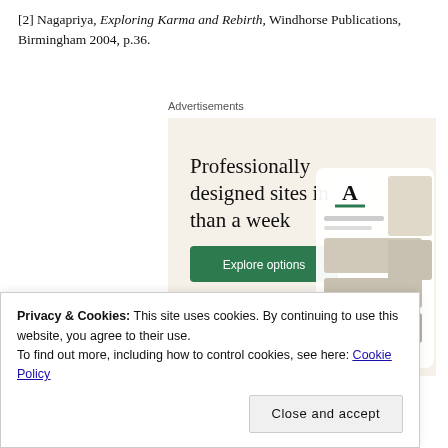[2] Nagapriya, Exploring Karma and Rebirth, Windhorse Publications, Birmingham 2004, p.36.
Advertisements
[Figure (illustration): WordPress/Squarespace advertisement showing 'Professionally designed sites in less than a week' with an Explore options button, WordPress logo, and website mockup images on a cream background.]
Privacy & Cookies: This site uses cookies. By continuing to use this website, you agree to their use.
To find out more, including how to control cookies, see here: Cookie Policy
Close and accept